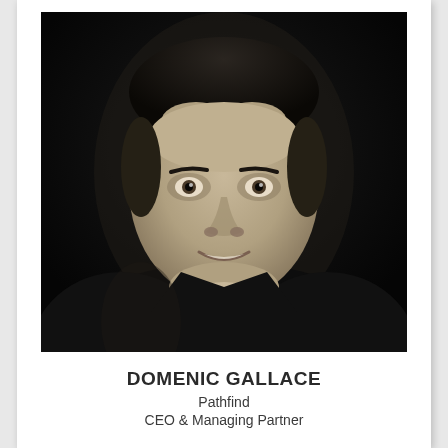[Figure (photo): Black and white professional headshot of a man with short dark hair, smiling slightly, resting his chin on his hand, wearing a dark jacket, against a dark background.]
DOMENIC GALLACE
Pathfind
CEO & Managing Partner